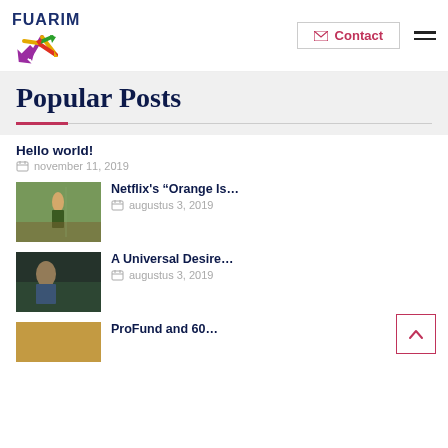[Figure (logo): FUARIM logo with colorful star shape and dark blue text]
Contact
Popular Posts
Hello world!
november 11, 2019
[Figure (photo): Child standing outdoors in natural setting]
Netflix's “Orange Is…
augustus 3, 2019
[Figure (photo): Person outdoors in natural setting]
A Universal Desire…
augustus 3, 2019
[Figure (photo): Partial image at bottom]
ProFund and 60…